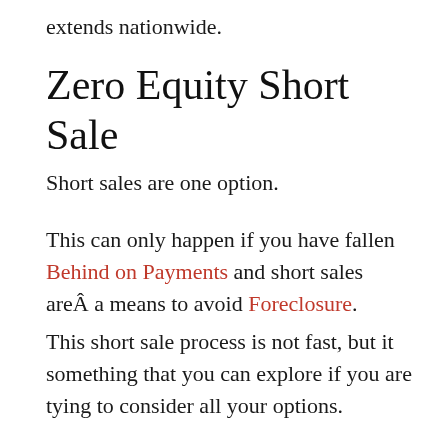extends nationwide.
Zero Equity Short Sale
Short sales are one option.
This can only happen if you have fallen Behind on Payments and short sales areÂ a means to avoid Foreclosure.
This short sale process is not fast, but it something that you can explore if you are tying to consider all your options.